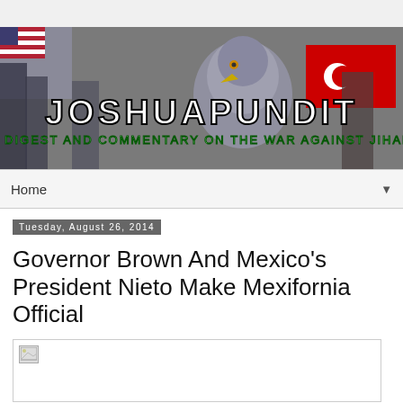[Figure (illustration): JoshuaPundit website banner showing crowd scenes, an eagle, flags, and the text JOSHUAPUNDIT - A DIGEST AND COMMENTARY ON THE WAR AGAINST JIHAD]
Home
Tuesday, August 26, 2014
Governor Brown And Mexico's President Nieto Make Mexifornia Official
[Figure (photo): Broken/loading image placeholder]